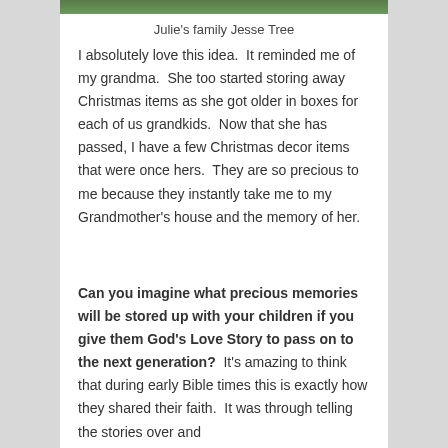[Figure (photo): Top portion of a photo showing a Jesse Tree with green ornaments, partially cropped at the top of the page]
Julie's family Jesse Tree
I absolutely love this idea.  It reminded me of my grandma.  She too started storing away Christmas items as she got older in boxes for each of us grandkids.  Now that she has passed, I have a few Christmas decor items that were once hers.  They are so precious to me because they instantly take me to my Grandmother's house and the memory of her.
Can you imagine what precious memories will be stored up with your children if you give them God's Love Story to pass on to the next generation?  It's amazing to think that during early Bible times this is exactly how they shared their faith.  It was through telling the stories over and